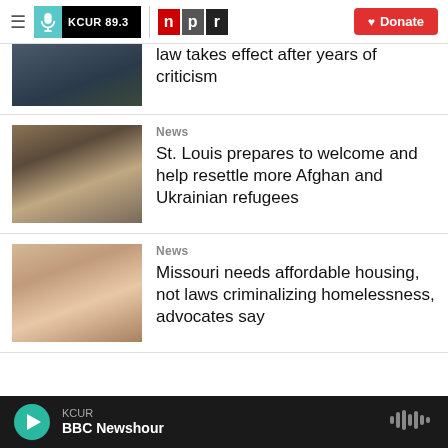KCUR 89.3 | npr | Donate
law takes effect after years of criticism
News
St. Louis prepares to welcome and help resettle more Afghan and Ukrainian refugees
News
Missouri needs affordable housing, not laws criminalizing homelessness, advocates say
KCUR BBC Newshour